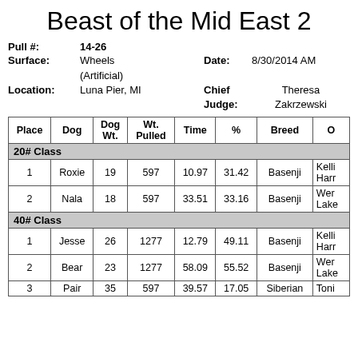Beast of the Mid East 2
Pull #: 14-26
Surface: Wheels (Artificial)   Date: 8/30/2014 AM
Location: Luna Pier, MI   Chief Judge: Theresa Zakrzewski
| Place | Dog | Dog Wt. | Wt. Pulled | Time | % | Breed | O |
| --- | --- | --- | --- | --- | --- | --- | --- |
| 20# Class |  |  |  |  |  |  |  |
| 1 | Roxie | 19 | 597 | 10.97 | 31.42 | Basenji | Kelli Harr |
| 2 | Nala | 18 | 597 | 33.51 | 33.16 | Basenji | Wer Lake |
| 40# Class |  |  |  |  |  |  |  |
| 1 | Jesse | 26 | 1277 | 12.79 | 49.11 | Basenji | Kelli Harr |
| 2 | Bear | 23 | 1277 | 58.09 | 55.52 | Basenji | Wer Lake |
| 3 | Pair | 35 | 597 | 39.57 | 17.05 | Siberian | Toni |